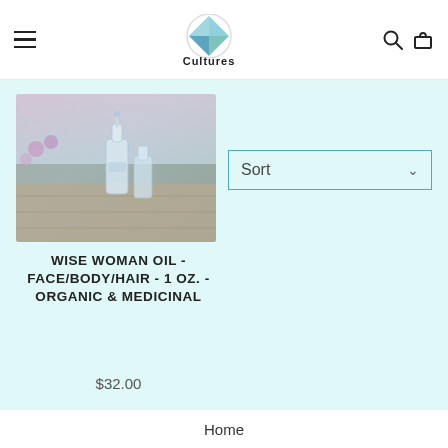Clear Water Cultures - navigation header with logo, search, and cart icons
[Figure (photo): Product photo of a glass dropper bottle with blue/clear liquid in an outdoor setting with purple flowers and wooden surface in the background]
WISE WOMAN OIL - FACE/BODY/HAIR - 1 OZ. - ORGANIC & MEDICINAL
$32.00
Sort
Home